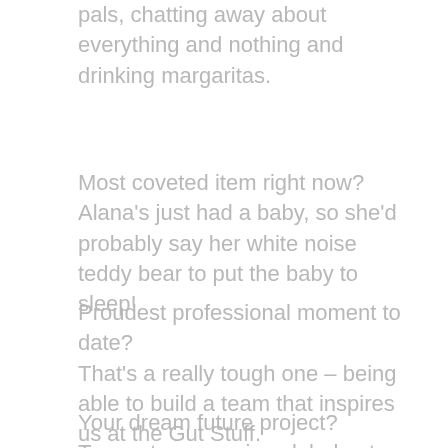pals, chatting away about everything and nothing and drinking margaritas.
Most coveted item right now?
Alana's just had a baby, so she'd probably say her white noise teddy bear to put the baby to sleep!
Proudest professional moment to date?
That's a really tough one – being able to build a team that inspires us at the Gut Stuff.
Your dream future project?
To create a massive global gut health festival